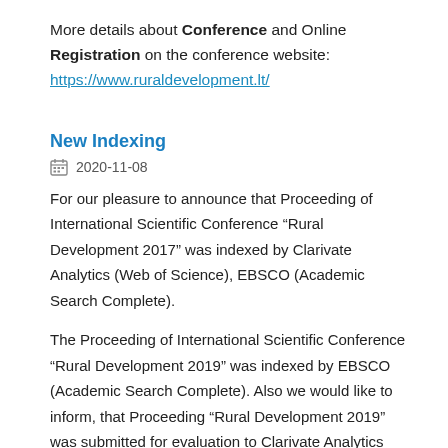More details about Conference and Online Registration on the conference website: https://www.ruraldevelopment.lt/
New Indexing
2020-11-08
For our pleasure to announce that Proceeding of International Scientific Conference “Rural Development 2017” was indexed by Clarivate Analytics (Web of Science), EBSCO (Academic Search Complete).
The Proceeding of International Scientific Conference “Rural Development 2019” was indexed by EBSCO (Academic Search Complete). Also we would like to inform, that Proceeding “Rural Development 2019” was submitted for evaluation to Clarivate Analytics (Web of Science).